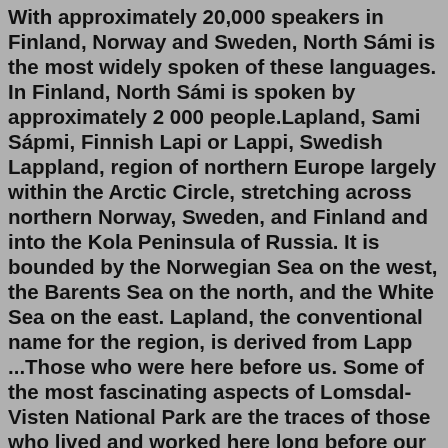With approximately 20,000 speakers in Finland, Norway and Sweden, North Sámi is the most widely spoken of these languages. In Finland, North Sámi is spoken by approximately 2 000 people.Lapland, Sami Sápmi, Finnish Lapi or Lappi, Swedish Lappland, region of northern Europe largely within the Arctic Circle, stretching across northern Norway, Sweden, and Finland and into the Kola Peninsula of Russia. It is bounded by the Norwegian Sea on the west, the Barents Sea on the north, and the White Sea on the east. Lapland, the conventional name for the region, is derived from Lapp ...Those who were here before us. Some of the most fascinating aspects of Lomsdal-Visten National Park are the traces of those who lived and worked here long before our modern, motorised era. Lomsdal-Visten, called Njaarken Vaarjelimmiedajve by the indigenous Sámi people, is rich in cultural heritage relics, the oldest of which date back 8000 ...The Sami - who have inhabited these harsh northern latitudes since the last ice age and are the only indigenous people in the EU - fear that